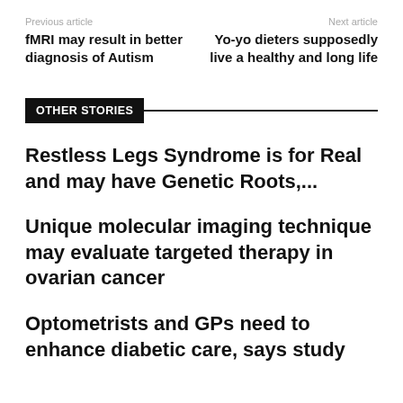Previous article
Next article
fMRI may result in better diagnosis of Autism
Yo-yo dieters supposedly live a healthy and long life
OTHER STORIES
Restless Legs Syndrome is for Real and may have Genetic Roots,...
Unique molecular imaging technique may evaluate targeted therapy in ovarian cancer
Optometrists and GPs need to enhance diabetic care, says study